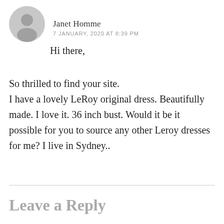[Figure (illustration): Generic user avatar silhouette in gray circle]
Janet Homme
7 JANUARY, 2020 AT 8:39 PM
Hi there,

So thrilled to find your site.
I have a lovely LeRoy original dress. Beautifully made. I love it. 36 inch bust. Would it be it possible for you to source any other Leroy dresses for me? I live in Sydney..
Leave a Reply